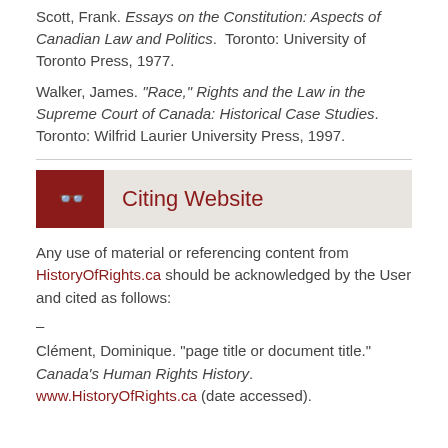Scott, Frank. Essays on the Constitution: Aspects of Canadian Law and Politics. Toronto: University of Toronto Press, 1977.
Walker, James. "Race," Rights and the Law in the Supreme Court of Canada: Historical Case Studies. Toronto: Wilfrid Laurier University Press, 1997.
Citing Website
Any use of material or referencing content from HistoryOfRights.ca should be acknowledged by the User and cited as follows:
–
Clément, Dominique. "page title or document title." Canada's Human Rights History. www.HistoryOfRights.ca (date accessed).